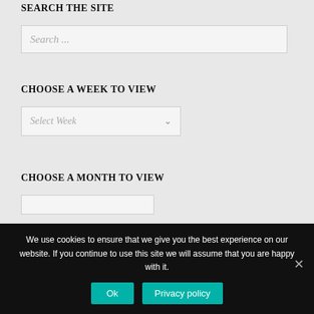SEARCH THE SITE
[Figure (screenshot): Search input box with placeholder text 'Search ...']
CHOOSE A WEEK TO VIEW
[Figure (screenshot): Dropdown select box with placeholder 'Select Week' and a dropdown arrow]
CHOOSE A MONTH TO VIEW
[Figure (screenshot): Partially visible input/select box at bottom of main content area]
We use cookies to ensure that we give you the best experience on our website. If you continue to use this site we will assume that you are happy with it.